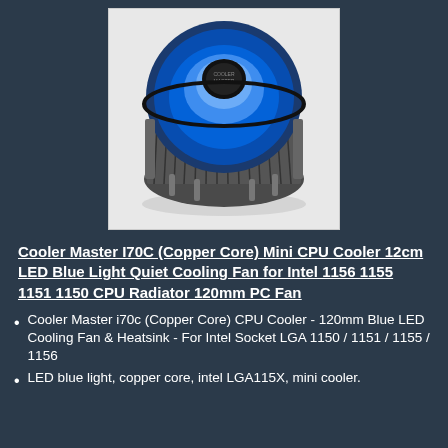[Figure (photo): A Cooler Master i70C CPU cooler with a circular 120mm blue LED fan on top and metal heatsink fins surrounding the base, photographed on a white background.]
Cooler Master I70C (Copper Core) Mini CPU Cooler 12cm LED Blue Light Quiet Cooling Fan for Intel 1156 1155 1151 1150 CPU Radiator 120mm PC Fan
Cooler Master i70c (Copper Core) CPU Cooler - 120mm Blue LED Cooling Fan & Heatsink - For Intel Socket LGA 1150 / 1151 / 1155 / 1156
LED blue light, copper core, intel LGA115X, mini cooler.